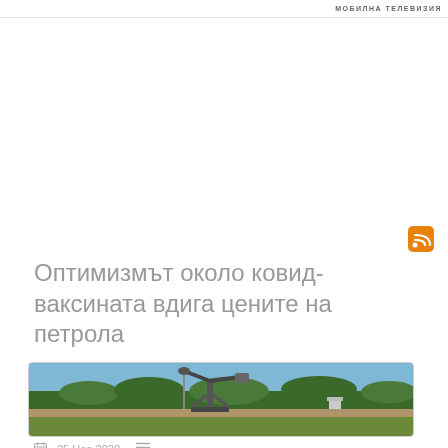МОБИЛНА ТЕЛЕВИЗИЯ
Оптимизмът около ковид-ваксината вдига цените на петрола
[Figure (photo): Oil pump jack in a field with trees in the background under a blue sky]
25 Ное 2020